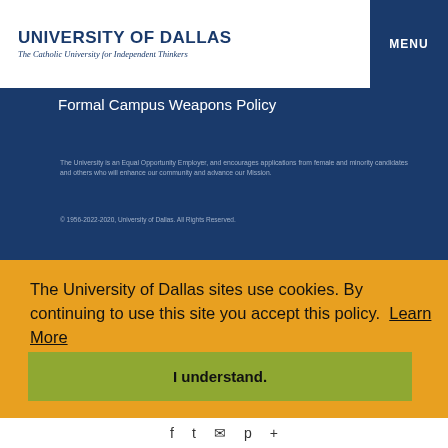UNIVERSITY OF DALLAS
The Catholic University for Independent Thinkers
MENU
Formal Campus Weapons Policy
The University is an Equal Opportunity Employer, and encourages applications from female and minority candidates and others who will enhance our community and advance our Mission.
© 1956-2022-2020, University of Dallas. All Rights Reserved.
The University of Dallas sites use cookies. By continuing to use this site you accept this policy.  Learn More
I understand.